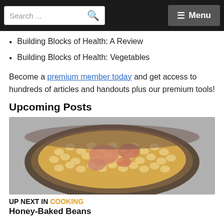Search ... [search icon] | ≡ Menu
Building Blocks of Health: A Review
Building Blocks of Health: Vegetables
Become a premium member today and get access to hundreds of articles and handouts plus our premium tools!
Upcoming Posts
[Figure (photo): A ceramic bowl filled with honey-baked beans and pieces of meat, photographed from above on a grey background.]
UP NEXT IN COOKING
Honey-Baked Beans